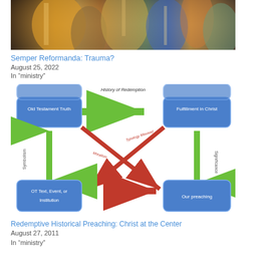[Figure (photo): Religious fresco or painting showing robed figures in medieval/Renaissance style with warm ochre, gold, blue and green tones]
Semper Reformanda: Trauma?
August 25, 2022
In "ministry"
[Figure (flowchart): Diagram showing Redemptive Historical Preaching framework with boxes: Old Testament Truth, Fulfillment in Christ, OT Text/Event/Institution, Our preaching. Arrows labeled: History of Redemption (green, left-to-right top), Symbolism (green, bidirectional left), Significance (green, downward right), Typology Misused and Moralism (red crossing arrows), Allegory (red, bottom center). History of Redemption header at top.]
Redemptive Historical Preaching: Christ at the Center
August 27, 2011
In "ministry"